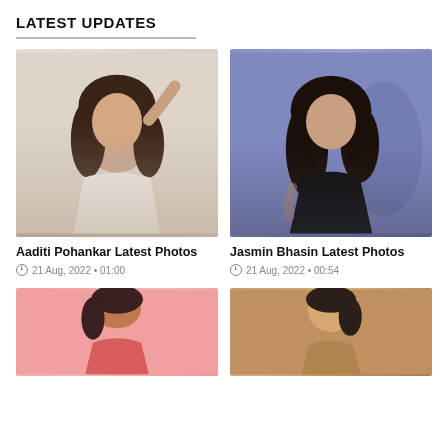LATEST UPDATES
[Figure (photo): Aaditi Pohankar in a white strapless top with dark wavy hair against a light background, arm raised overhead]
Aaditi Pohankar Latest Photos
21 Aug, 2022 • 01:00
[Figure (photo): Jasmin Bhasin in a black spaghetti-strap dress with dark wavy hair against a purple/blue background]
Jasmin Bhasin Latest Photos
21 Aug, 2022 • 00:54
[Figure (photo): Woman with dark wavy hair against a pink background, partially visible]
[Figure (photo): Woman with dark hair tied back against a golden/warm background, partially visible]